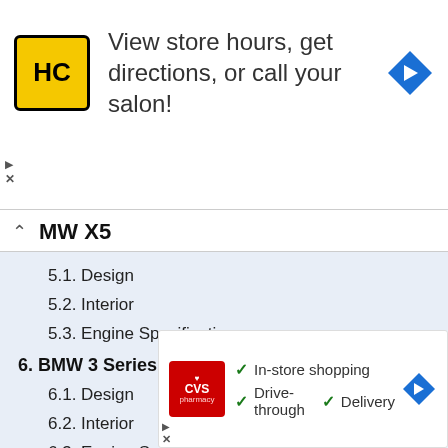[Figure (screenshot): Advertisement banner for HC salon with logo, text 'View store hours, get directions, or call your salon!' and a navigation arrow icon.]
BMW X5 (partial, header visible)
5.1. Design
5.2. Interior
5.3. Engine Specifications
6. BMW 3 Series
6.1. Design
6.2. Interior
6.3. Engine Specifications
7. BMW 5 Series
7.1. Design
7.2. Interiors
7.3. (partially obscured)
8. BM (partially obscured)
8.1. (partially obscured)
8.2. (partially obscured)
[Figure (screenshot): CVS Pharmacy advertisement overlay with checkmarks for 'In-store shopping', 'Drive-through', 'Delivery' and navigation arrow icon.]